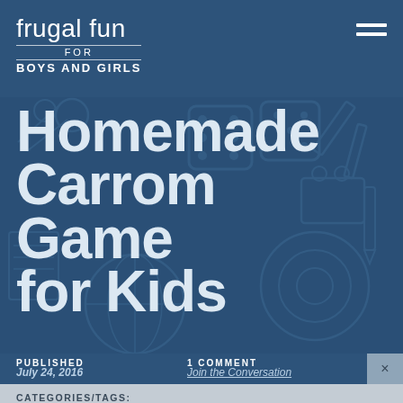frugal fun for boys and girls
Homemade Carrom Game for Kids
PUBLISHED July 24, 2016
1 COMMENT Join the Conversation
CATEGORIES/TAGS: